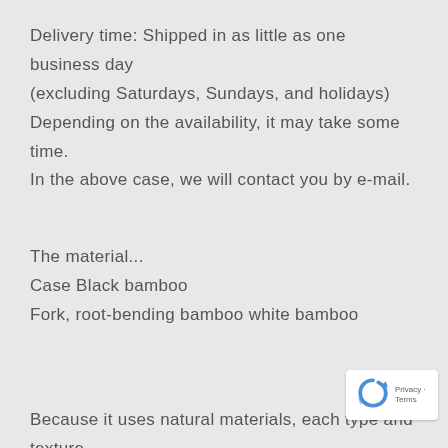Delivery time: Shipped in as little as one business day (excluding Saturdays, Sundays, and holidays) Depending on the availability, it may take some time. In the above case, we will contact you by e-mail.
The material... Case Black bamboo Fork, root-bending bamboo white bamboo
Because it uses natural materials, each type and texture are different. I think that it is possible to handle it gently normally because it does not do excessive processing. Please wash it softly with a neutral detergent and d naturally by avoiding the put-on washing, hot water,